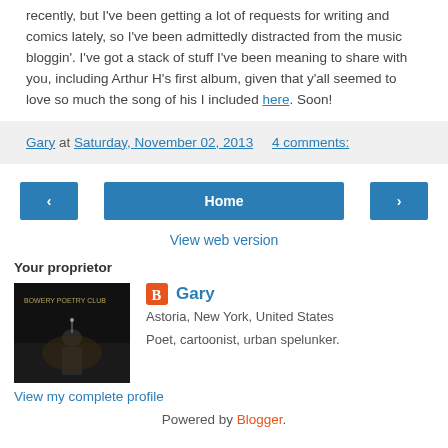recently, but I've been getting a lot of requests for writing and comics lately, so I've been admittedly distracted from the music bloggin'. I've got a stack of stuff I've been meaning to share with you, including Arthur H's first album, given that y'all seemed to love so much the song of his I included here. Soon!
Gary at Saturday, November 02, 2013   4 comments:
‹   Home   ›
View web version
Your proprietor
[Figure (photo): Profile photo of Gary at a poetry club event, dark background with stage lighting]
Gary
Astoria, New York, United States
Poet, cartoonist, urban spelunker.
View my complete profile
Powered by Blogger.